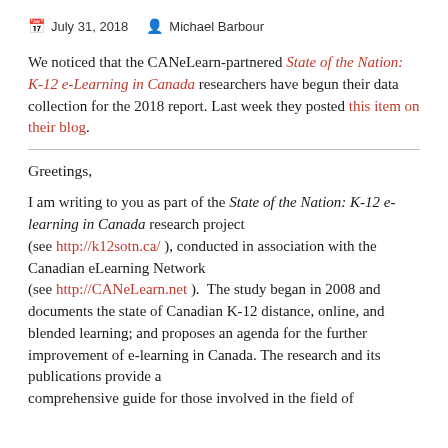July 31, 2018   Michael Barbour
We noticed that the CANeLearn-partnered State of the Nation: K-12 e-Learning in Canada researchers have begun their data collection for the 2018 report.  Last week they posted this item on their blog.
Greetings,
I am writing to you as part of the State of the Nation: K-12 e-learning in Canada research project (see http://k12sotn.ca/ ), conducted in association with the Canadian eLearning Network (see http://CANeLearn.net ).  The study began in 2008 and documents the state of Canadian K-12 distance, online, and blended learning; and proposes an agenda for the further improvement of e-learning in Canada. The research and its publications provide a comprehensive guide for those involved in the field of